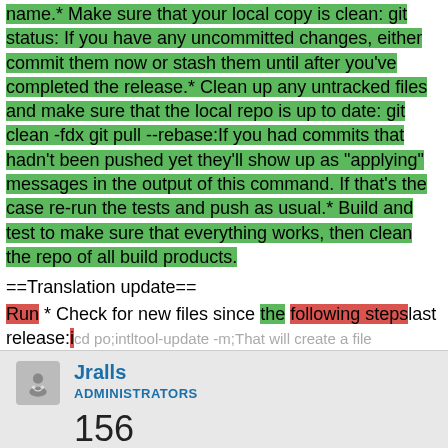<code>maintenance <code> in the name) use your local name.* Make sure that your local copy is clean: git status: If you have any uncommitted changes, either commit them now or stash them until after you've completed the release.* Clean up any untracked files and make sure that the local repo is up to date: git clean -fdx git pull --rebase:If you had commits that hadn't been pushed yet they'll show up as "applying" messages in the output of this command. If that's the case re-run the tests and push as usual.* Build and test to make sure that everything works, then clean the repo of all build products.
==Translation update==
Run * Check for new files since the following steps last release:* cd po;intltool-update -m;That will create a file